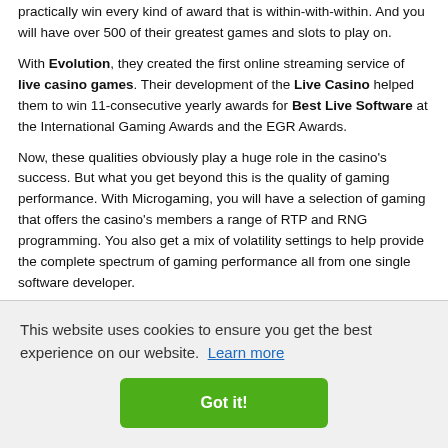practically win every kind of award that is within-with-within. And you will have over 500 of their greatest games and slots to play on.
With Evolution, they created the first online streaming service of live casino games. Their development of the Live Casino helped them to win 11-consecutive yearly awards for Best Live Software at the International Gaming Awards and the EGR Awards.
Now, these qualities obviously play a huge role in the casino's success. But what you get beyond this is the quality of gaming performance. With Microgaming, you will have a selection of gaming that offers the casino's members a range of RTP and RNG programming. You also get a mix of volatility settings to help provide the complete spectrum of gaming performance all from one single software developer.
So, whilst you may only have 550-odd games, you still get all the …aming …asino
This website uses cookies to ensure you get the best experience on our website. Learn more
Got it!